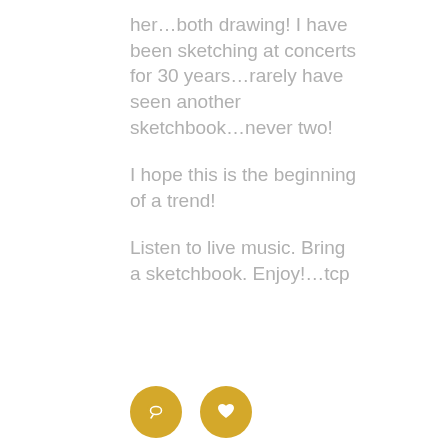her…both drawing! I have been sketching at concerts for 30 years…rarely have seen another sketchbook…never two!

I hope this is the beginning of a trend!

Listen to live music. Bring a sketchbook. Enjoy!…tcp
[Figure (other): Back-to-top button (grey square with upward chevron arrow), and two golden circular icon buttons (comment and like/heart icons)]